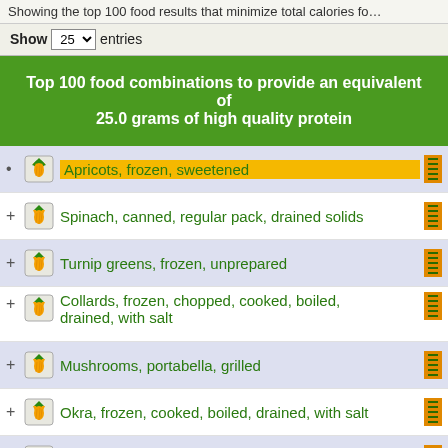Showing the top 100 food results that minimize total calories fo…
Show 25 entries
Top 100 food combinations to provide an equivalent of 25.0 grams of high quality protein
Apricots, frozen, sweetened
+ Spinach, canned, regular pack, drained solids
+ Turnip greens, frozen, unprepared
+ Collards, frozen, chopped, cooked, boiled, drained, with salt
+ Mushrooms, portabella, grilled
+ Okra, frozen, cooked, boiled, drained, with salt
+ Okra, frozen, cooked, boiled, drained, without salt
+ Seeds, chia seeds, dried
+ Asparagus, raw
+ Lettuce, red leaf, raw